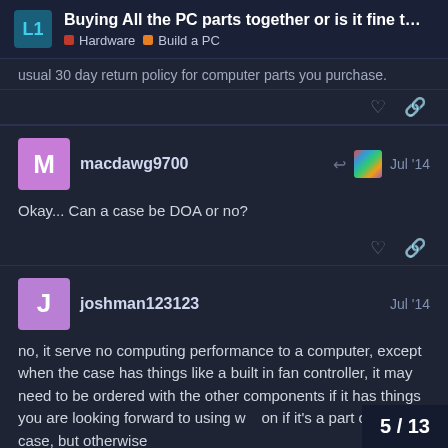Buying All the PC parts together or is it fine to b... | Hardware | Build a PC
usual 30 day return policy for computer parts you purchase.
macdawg9700 Jul '14
Okay... Can a case be DOA or no?
joshman123123 Jul '14
no, it serve no computing performance to a computer, except when the case has things like a built in fan controller, it may need to be ordered with the other components if it has things you are looking forward to using w on if it's a part of the case, but otherwise
5 / 13